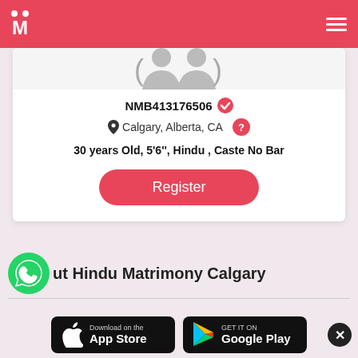M (Matrimony logo header with hamburger menu)
NMB413176506 (verified)
Calgary, Alberta, CA
30 years Old, 5'6'', Hindu , Caste No Bar
Register
ut Hindu Matrimony Calgary
[Figure (screenshot): App Store download button]
[Figure (screenshot): Google Play download button]